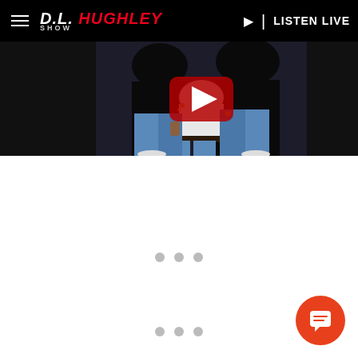The D.L. Hughley Show | LISTEN LIVE
[Figure (screenshot): Website screenshot of The D.L. Hughley Show. Header bar with hamburger menu, logo, and LISTEN LIVE button. Center content area shows a photo of two people in jeans with jewelry, with a YouTube play button overlay. Below are two rows of three loading dots each. Bottom right has an orange chat button.]